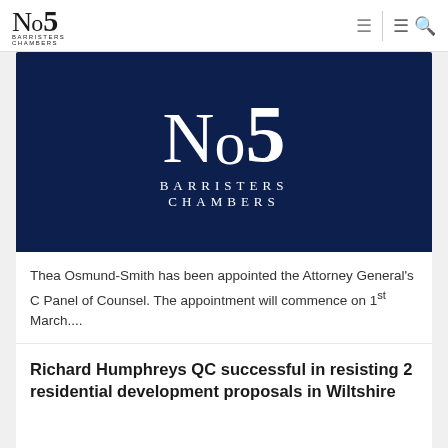No5 Barristers Chambers
[Figure (logo): No5 Barristers Chambers logo on dark navy background]
Thea Osmund-Smith has been appointed the Attorney General's C Panel of Counsel. The appointment will commence on 1st March....
Date: Tue, 06 Feb 2018
Richard Humphreys QC successful in resisting 2 residential development proposals in Wiltshire